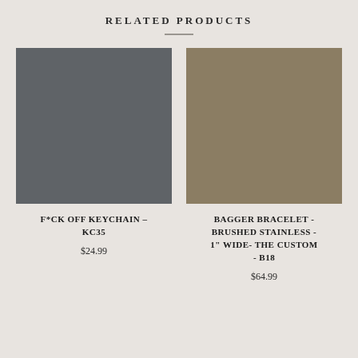RELATED PRODUCTS
[Figure (photo): Solid dark grey/slate colored square product image for F*CK OFF KEYCHAIN - KC35]
F*CK OFF KEYCHAIN – KC35
$24.99
[Figure (photo): Solid tan/khaki brown colored square product image for BAGGER BRACELET - BRUSHED STAINLESS - 1" WIDE- THE CUSTOM - B18]
BAGGER BRACELET - BRUSHED STAINLESS - 1" WIDE- THE CUSTOM - B18
$64.99